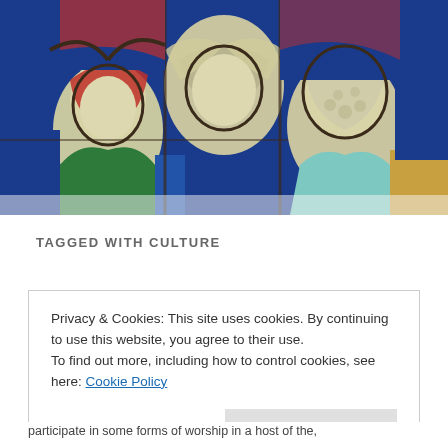[Figure (photo): A stained glass window depicting religious figures with red, blue, green and golden tones. Three figures visible: a woman with green robe and red headscarf on the left, a central figure, and a bearded man on the right, all with halos, set against a vivid cobalt blue background.]
TAGGED WITH CULTURE
Privacy & Cookies: This site uses cookies. By continuing to use this website, you agree to their use.
To find out more, including how to control cookies, see here: Cookie Policy
Close and accept
participate in some forms of worship in a host of the,